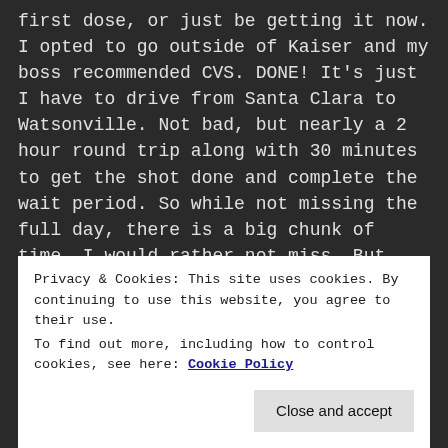first dose, or just be getting it now. I opted to go outside of Kaiser and my boss recommended CVS. DONE! It's just I have to drive from Santa Clara to Watsonville. Not bad, but nearly a 2 hour round trip along with 30 minutes to get the shot done and complete the wait period. So while not missing the full day, there is a big chunk of time, I would rather not miss. But, again, it is worth it.
I can't wait to see friends and family and do stuff again. I was gonna say go to a mall, but I haven't been in one of those in YEARS! LOL. Hell, at this point I just might. 🙂
Privacy & Cookies: This site uses cookies. By continuing to use this website, you agree to their use.
To find out more, including how to control cookies, see here: Cookie Policy